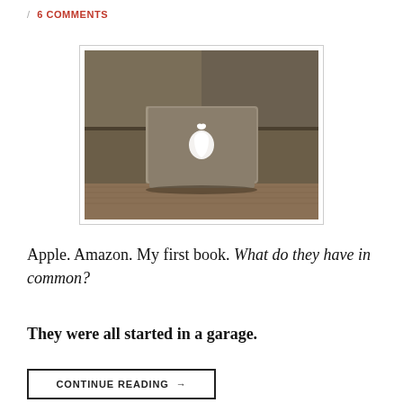/ 6 COMMENTS
[Figure (photo): MacBook laptop sitting on a carpet with its lid closed, showing the glowing Apple logo, against a blurred garage/wall background. Dark ambient lighting.]
Apple. Amazon. My first book. What do they have in common?
They were all started in a garage.
CONTINUE READING →